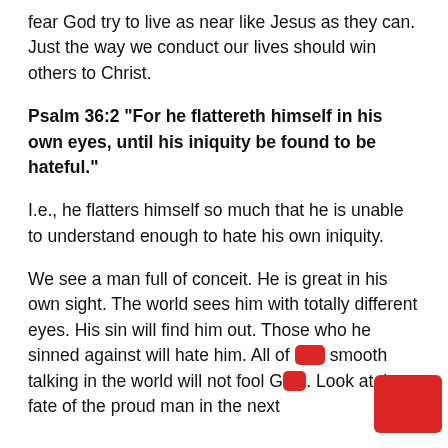fear God try to live as near like Jesus as they can. Just the way we conduct our lives should win others to Christ.
Psalm 36:2 “For he flattereth himself in his own eyes, until his iniquity be found to be hateful.”
I.e., he flatters himself so much that he is unable to understand enough to hate his own iniquity.
We see a man full of conceit. He is great in his own sight. The world sees him with totally different eyes. His sin will find him out. Those who he sinned against will hate him. All of the smooth talking in the world will not fool God. Look at the fate of the proud man in the next